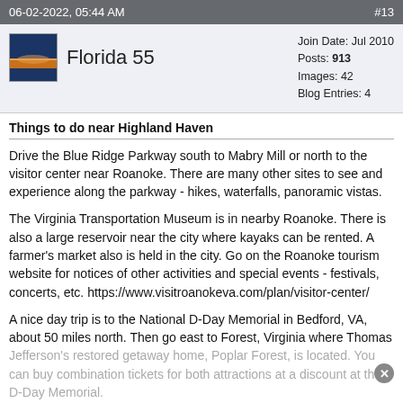06-02-2022, 05:44 AM   #13
Florida 55
Join Date: Jul 2010
Posts: 913
Images: 42
Blog Entries: 4
Things to do near Highland Haven
Drive the Blue Ridge Parkway south to Mabry Mill or north to the visitor center near Roanoke. There are many other sites to see and experience along the parkway - hikes, waterfalls, panoramic vistas.
The Virginia Transportation Museum is in nearby Roanoke. There is also a large reservoir near the city where kayaks can be rented. A farmer's market also is held in the city. Go on the Roanoke tourism website for notices of other activities and special events - festivals, concerts, etc. https://www.visitroanokeva.com/plan/visitor-center/
A nice day trip is to the National D-Day Memorial in Bedford, VA, about 50 miles north. Then go east to Forest, Virginia where Thomas Jefferson's restored getaway home, Poplar Forest, is located. You can buy combination tickets for both attractions at a discount at the D-Day Memorial.